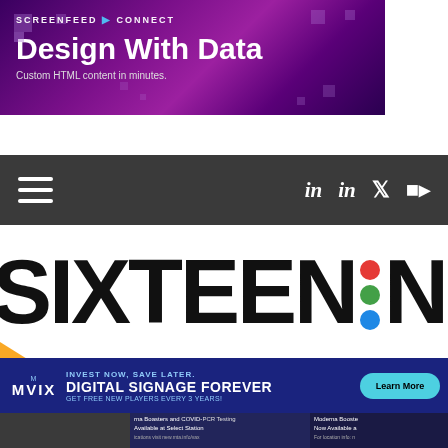[Figure (illustration): Screenfeed Connect banner ad with purple gradient background, 'Design With Data' headline and 'Custom HTML content in minutes.' subtext]
[Figure (screenshot): Dark grey navigation bar with hamburger menu icon on left and social media icons (LinkedIn x2, Twitter, RSS) on right]
[Figure (logo): SIXTEEN:NINE logo in large bold black text with red, green, and blue dots replacing the colon]
[Figure (illustration): Mvix digital signage advertisement banner: 'INVEST NOW, SAVE LATER. DIGITAL SIGNAGE FOREVER GET FREE NEW PLAYERS EVERY 3 YEARS!' with Learn More button]
[Figure (photo): Bottom partial photo showing a digital sign about Moderna Boosters and COVID-19 PCR Testing]